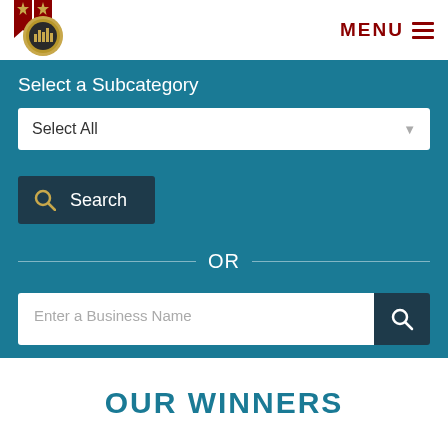[Figure (logo): Consumers Choice Award circular gold medal badge with red ribbon]
MENU ≡
Select a Subcategory
Select All
Search
OR
Enter a Business Name
OUR WINNERS